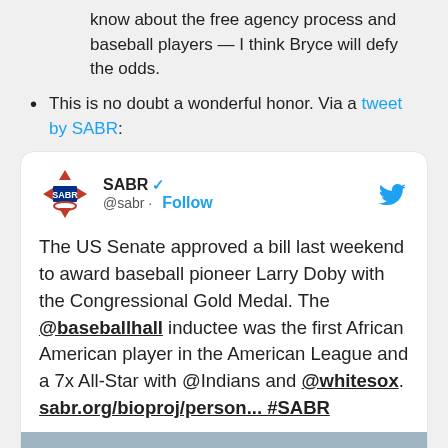know about the free agency process and baseball players — I think Bryce will defy the odds.
This is no doubt a wonderful honor. Via a tweet by SABR:
[Figure (screenshot): Embedded tweet from SABR (@sabr) with verified badge and Follow button. Tweet text: The US Senate approved a bill last weekend to award baseball pioneer Larry Doby with the Congressional Gold Medal. The @baseballhall inductee was the first African American player in the American League and a 7x All-Star with @Indians and @whitesox. sabr.org/bioproj/person... #SABR. Below the tweet text is the beginning of an image showing a partial photo.]